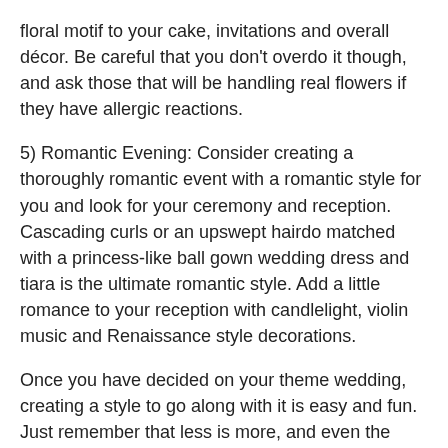floral motif to your cake, invitations and overall décor. Be careful that you don't overdo it though, and ask those that will be handling real flowers if they have allergic reactions.
5) Romantic Evening: Consider creating a thoroughly romantic event with a romantic style for you and look for your ceremony and reception. Cascading curls or an upswept hairdo matched with a princess-like ball gown wedding dress and tiara is the ultimate romantic style. Add a little romance to your reception with candlelight, violin music and Renaissance style decorations.
Once you have decided on your theme wedding, creating a style to go along with it is easy and fun. Just remember that less is more, and even the smallest touches add flair to a classy event.
Posted In blog